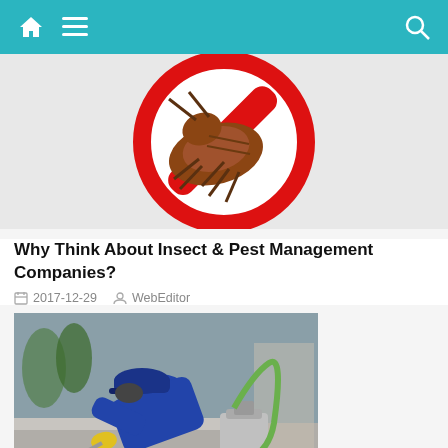Navigation bar with home, menu, and search icons
[Figure (illustration): Cartoon cockroach with a red prohibition circle/cross sign over it — pest control no-entry symbol]
Why Think About Insect & Pest Management Companies?
2017-12-29  WebEditor
[Figure (photo): Pest control worker in blue uniform and cap, wearing a mask, crouching and spraying pesticide with a pump sprayer along a curb/drain in an outdoor setting]
Helpful Tips On Finding The Best Pest Control Company
2018-01-10  WebEditor